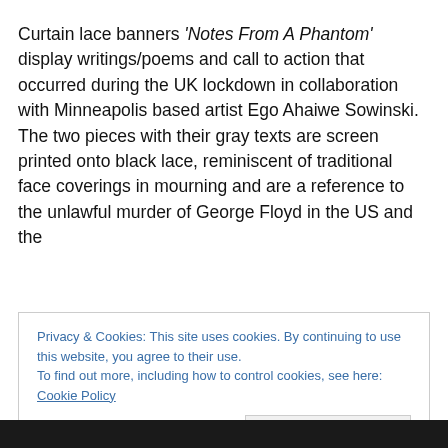Curtain lace banners ‘Notes From A Phantom’ display writings/poems and call to action that occurred during the UK lockdown in collaboration with Minneapolis based artist Ego Ahaiwe Sowinski. The two pieces with their gray texts are screen printed onto black lace, reminiscent of traditional face coverings in mourning and are a reference to the unlawful murder of George Floyd in the US and the
Privacy & Cookies: This site uses cookies. By continuing to use this website, you agree to their use.
To find out more, including how to control cookies, see here: Cookie Policy
Close and accept
[Figure (photo): Dark/black strip at the bottom of the page, partial view of a photo]